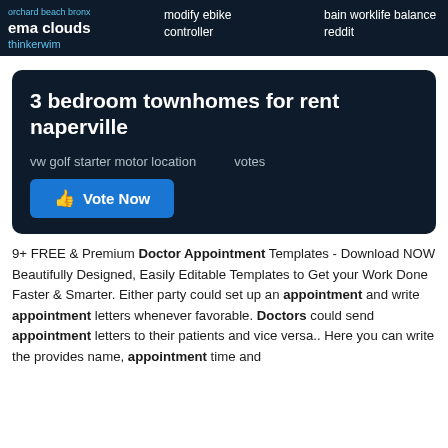orchard beach bronx | ema clouds | thinkerwim | modify ebike controller | bain worklife balance reddit
3 bedroom townhomes for rent naperville
vw golf starter motor location     votes
[Figure (other): Blue Vote Now button with thumbs up icon, with monkey injury sidebar label]
9+ FREE & Premium Doctor Appointment Templates - Download NOW Beautifully Designed, Easily Editable Templates to Get your Work Done Faster & Smarter. Either party could set up an appointment and write appointment letters whenever favorable. Doctors could send appointment letters to their patients and vice versa.. Here you can write the provides name, appointment time and